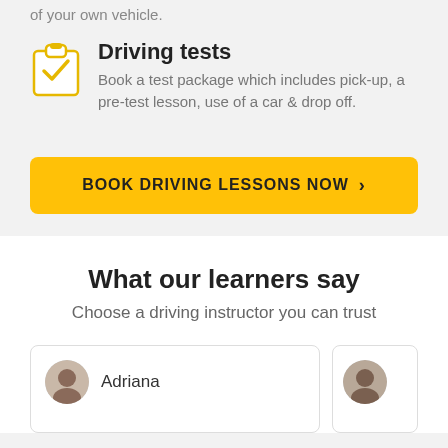of your own vehicle.
Driving tests
Book a test package which includes pick-up, a pre-test lesson, use of a car & drop off.
BOOK DRIVING LESSONS NOW >
What our learners say
Choose a driving instructor you can trust
Adriana